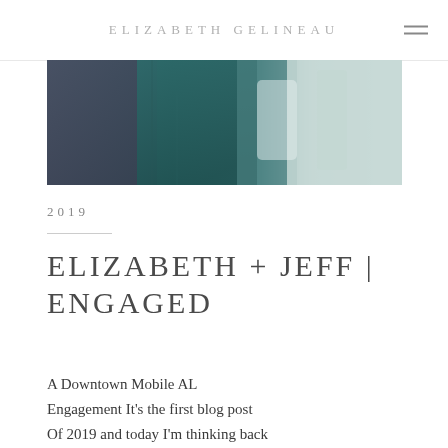ELIZABETH GELINEAU
[Figure (photo): Partial photo showing person wearing dark jeans and teal/green jacket, blurred background with light tones]
2019
ELIZABETH + JEFF | ENGAGED
A Downtown Mobile AL Engagement It's the first blog post Of 2019 and today I'm thinking back